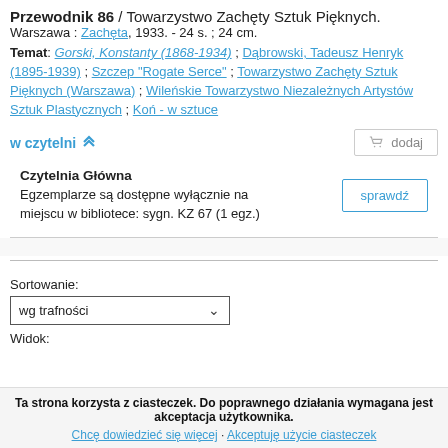Przewodnik 86 / Towarzystwo Zachęty Sztuk Pięknych.
Warszawa : Zachęta, 1933. - 24 s. ; 24 cm.
Temat: Gorski, Konstanty (1868-1934) ; Dąbrowski, Tadeusz Henryk (1895-1939) ; Szczep "Rogate Serce" ; Towarzystwo Zachęty Sztuk Pięknych (Warszawa) ; Wileńskie Towarzystwo Niezależnych Artystów Sztuk Plastycznych ; Koń - w sztuce
w czytelni
dodaj
Czytelnia Główna
Egzemplarze są dostępne wyłącznie na miejscu w bibliotece: sygn. KZ 67 (1 egz.)
sprawdź
Sortowanie:
wg trafności
Widok:
Ta strona korzysta z ciasteczek. Do poprawnego działania wymagana jest akceptacja użytkownika.
Chcę dowiedzieć się więcej · Akceptuję użycie ciasteczek